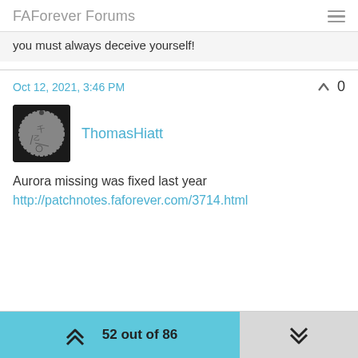FAForever Forums
you must always deceive yourself!
Oct 12, 2021, 3:46 PM
ThomasHiatt
Aurora missing was fixed last year
http://patchnotes.faforever.com/3714.html
52 out of 86